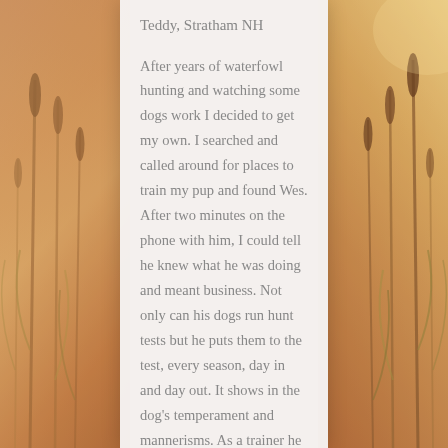Teddy, Stratham NH
After years of waterfowl hunting and watching some dogs work I decided to get my own. I searched and called around for places to train my pup and found Wes. After two minutes on the phone with him, I could tell he knew what he was doing and meant business. Not only can his dogs run hunt tests but he puts them to the test, every season, day in and day out. It shows in the dog's temperament and mannerisms. As a trainer he does not